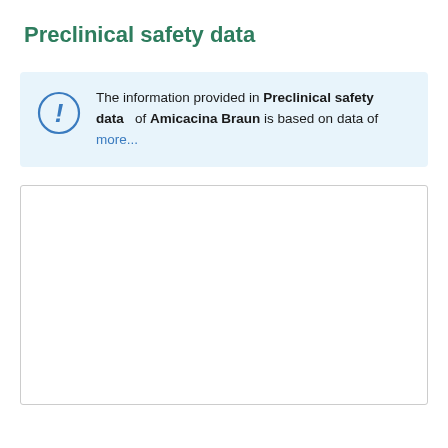Preclinical safety data
The information provided in Preclinical safety data of Amicacina Braun is based on data of more...
[Figure (other): Empty white content box with border]